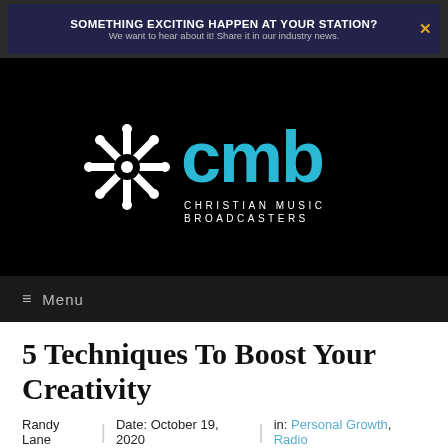SOMETHING EXCITING HAPPEN AT YOUR STATION? We want to hear about it! Share it in our industry news.
[Figure (logo): CMB Christian Music Broadcasters logo — white snowflake-like symbol on left, teal 'cmb' lettering on right, 'CHRISTIAN MUSIC BROADCASTERS' in white smaller text below]
≡ Menu
5 Techniques To Boost Your Creativity
Randy Lane | Date: October 19, 2020 | in: Personal Growth, Radio
My best ideas come when I actively think in creative ways and use...